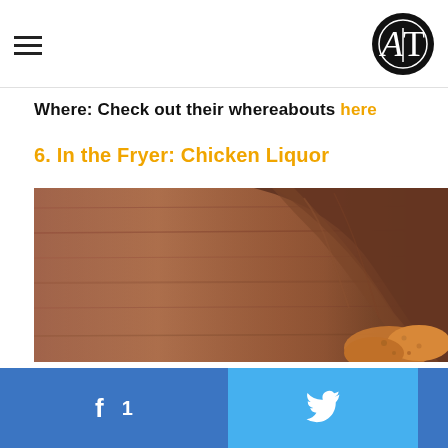AT logo / navigation header
Where: Check out their whereabouts here
6. In the Fryer: Chicken Liquor
[Figure (photo): Close-up food photo showing fried chicken pieces with crinkled brown paper/wrapper on a wooden surface background]
Share buttons: Facebook (1), Twitter